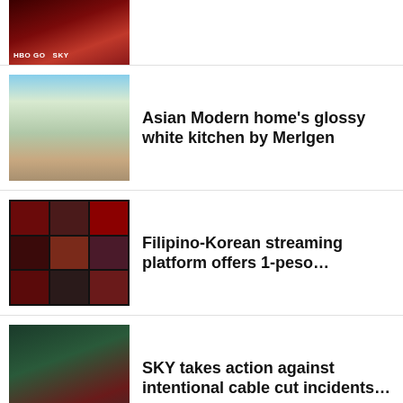[Figure (photo): Dark red movie/show thumbnail with HBO GO SKY branding]
[Figure (photo): Asian Modern house exterior thumbnail]
Asian Modern home’s glossy white kitchen by Merlgen
[Figure (photo): Filipino-Korean streaming platform grid thumbnail]
Filipino-Korean streaming platform offers 1-peso…
[Figure (photo): SKY cable cut incident thumbnail]
SKY takes action against intentional cable cut incidents…
[Figure (photo): GrabFood Indie Eats nationwide food choices thumbnail]
GrabFood Indie Eats goes nationwide with huge food choices…
[Figure (photo): SKY digitization internet and cable thumbnail]
SKY completes digitization of internet and cable in…